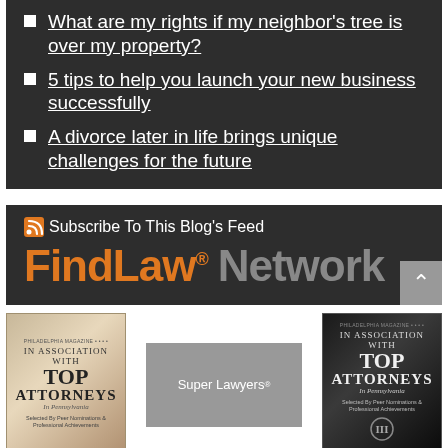What are my rights if my neighbor's tree is over my property?
5 tips to help you launch your new business successfully
A divorce later in life brings unique challenges for the future
Subscribe To This Blog's Feed
FindLaw. Network
[Figure (illustration): Top Attorneys in Pennsylvania award book cover (light/gold colored)]
[Figure (logo): Super Lawyers badge/logo]
[Figure (illustration): Top Attorneys in Pennsylvania award book cover (dark/black colored)]